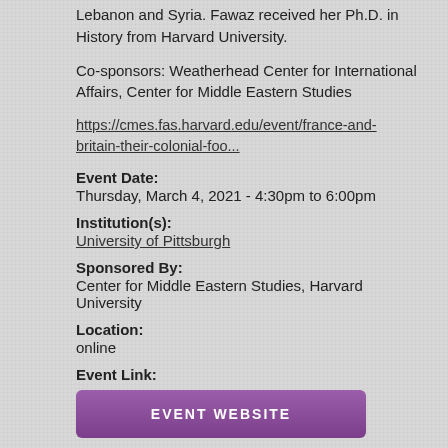Lebanon and Syria. Fawaz received her Ph.D. in History from Harvard University.
Co-sponsors: Weatherhead Center for International Affairs, Center for Middle Eastern Studies
https://cmes.fas.harvard.edu/event/france-and-britain-their-colonial-foo...
Event Date:
Thursday, March 4, 2021 - 4:30pm to 6:00pm
Institution(s):
University of Pittsburgh
Sponsored By:
Center for Middle Eastern Studies, Harvard University
Location:
online
Event Link:
EVENT WEBSITE
Featured Item?: No